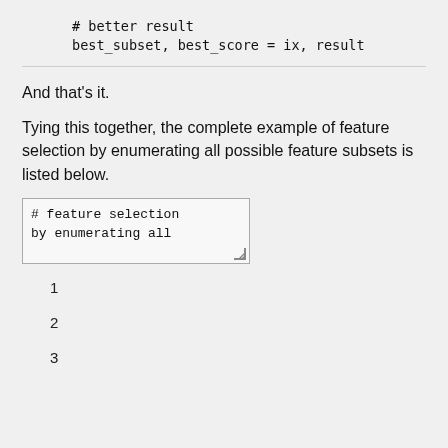# better result
best_subset, best_score = ix, result
And that's it.
Tying this together, the complete example of feature selection by enumerating all possible feature subsets is listed below.
[Figure (screenshot): Code textarea showing: # feature selection
by enumerating all]
1
2
3